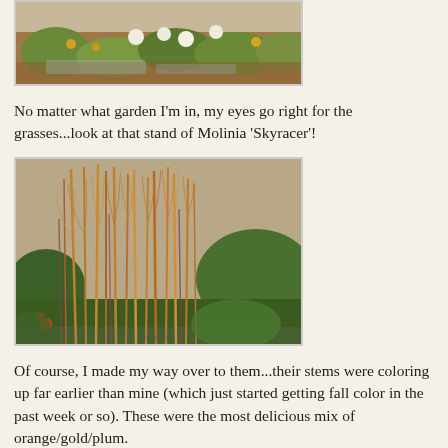[Figure (photo): Top portion of a garden photo showing a pond or water feature with white and yellow flowers and green plants in the background]
No matter what garden I'm in, my eyes go right for the grasses...look at that stand of Molinia 'Skyracer'!
[Figure (photo): Close-up photo of ornamental grasses (Molinia 'Skyracer') showing tall stems with orange/gold/plum fall coloring with green garden plants visible in the background]
Of course, I made my way over to them...their stems were coloring up far earlier than mine (which just started getting fall color in the past week or so). These were the most delicious mix of orange/gold/plum.